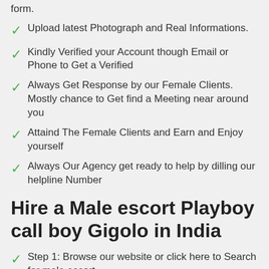form.
Upload latest Photograph and Real Informations.
Kindly Verified your Account though Email or Phone to Get a Verified
Always Get Response by our Female Clients. Mostly chance to Get find a Meeting near around you
Attaind The Female Clients and Earn and Enjoy yourself
Always Our Agency get ready to help by dilling our helpline Number
Hire a Male escort Playboy call boy Gigolo in India
Step 1: Browse our website or click here to Search for male escort.
Step 2: Check their profile status before contacting any Male escort.
Step 3: Shortlist at least 2-4 escorts then contact